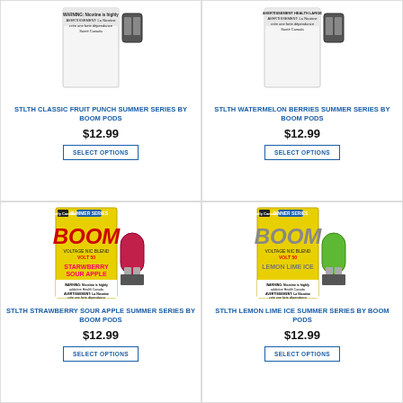[Figure (photo): STLTH Classic Fruit Punch Summer Series by Boom Pods product packaging - white box with pods]
STLTH CLASSIC FRUIT PUNCH SUMMER SERIES BY BOOM PODS
$12.99
SELECT OPTIONS
[Figure (photo): STLTH Watermelon Berries Summer Series by Boom Pods product packaging - white box with pods]
STLTH WATERMELON BERRIES SUMMER SERIES BY BOOM PODS
$12.99
SELECT OPTIONS
[Figure (photo): STLTH Strawberry Sour Apple Summer Series by Boom Pods - yellow box with pink pod, Boom branding]
STLTH STRAWBERRY SOUR APPLE SUMMER SERIES BY BOOM PODS
$12.99
SELECT OPTIONS
[Figure (photo): STLTH Lemon Lime Ice Summer Series by Boom Pods - yellow box with green pod, Boom branding]
STLTH LEMON LIME ICE SUMMER SERIES BY BOOM PODS
$12.99
SELECT OPTIONS